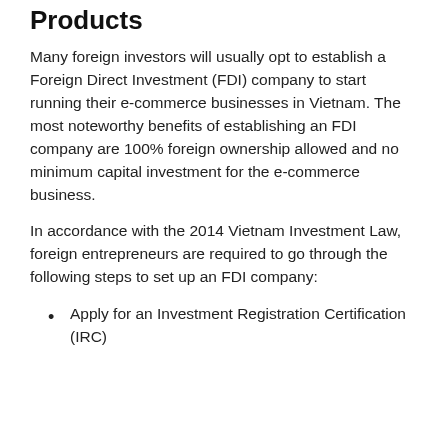Products
Many foreign investors will usually opt to establish a Foreign Direct Investment (FDI) company to start running their e-commerce businesses in Vietnam. The most noteworthy benefits of establishing an FDI company are 100% foreign ownership allowed and no minimum capital investment for the e-commerce business.
In accordance with the 2014 Vietnam Investment Law, foreign entrepreneurs are required to go through the following steps to set up an FDI company:
Apply for an Investment Registration Certification (IRC)